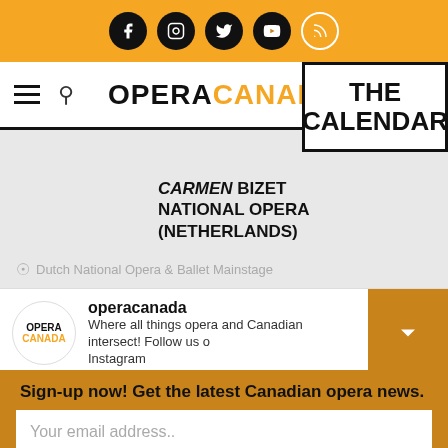Social media icons: Facebook, Instagram, Twitter, YouTube, RSS
[Figure (logo): Opera Canada logo and navigation bar with hamburger menu, search icon, and THE CALENDAR badge]
[Figure (photo): Portrait photo of a male conductor or performer in dark shirt holding a baton]
CARMEN BIZET NATIONAL OPERA (NETHERLANDS)
Dutch National Opera & Ballet Mainstage
[Figure (logo): Opera Canada circular logo]
operacanada
Where all things opera and Canadian intersect! Follow us on Instagram
Sign-up now! Get the latest Canadian opera news.
Your email address..
Sign-Up